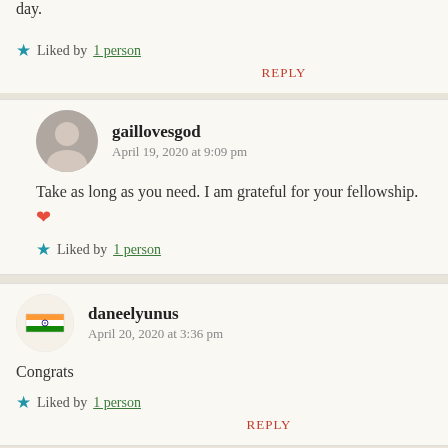day.
Liked by 1 person
REPLY
gaillovesgod
April 19, 2020 at 9:09 pm
Take as long as you need. I am grateful for your fellowship. ❤
Liked by 1 person
daneelyunus
April 20, 2020 at 3:36 pm
Congrats
Liked by 1 person
REPLY